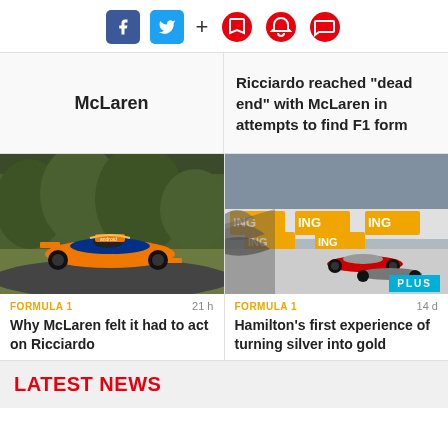[Figure (infographic): Social media icons: Facebook (blue square), Twitter (blue square), plus sign, and three red circular icons (bookmark, bell, chat)]
McLaren
Ricciardo reached "dead end" with McLaren in attempts to find F1 form
[Figure (photo): McLaren F1 car in orange and blue livery on a green track with trees in background]
FORMULA 1
21 h
Why McLaren felt it had to act on Ricciardo
[Figure (photo): F1 race cars on track with ING sponsor banners and crowd cheering, PLUS badge visible]
FORMULA 1
14 d
Hamilton's first experience of turning silver into gold
LATEST NEWS